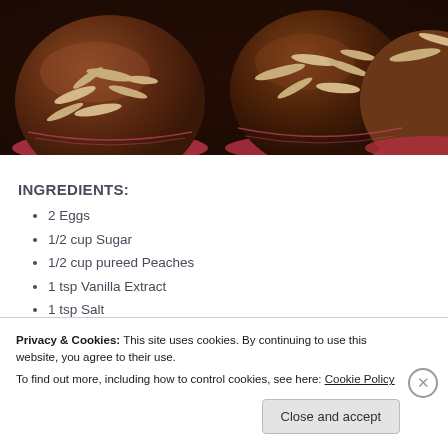[Figure (photo): Chocolate muffins topped with sliced almonds in red silicone baking cups, viewed from above on a dark background.]
INGREDIENTS:
2 Eggs
1/2 cup Sugar
1/2 cup pureed Peaches
1 tsp Vanilla Extract
1 tsp Salt
1 tsp Cinnamon
Privacy & Cookies: This site uses cookies. By continuing to use this website, you agree to their use.
To find out more, including how to control cookies, see here: Cookie Policy
Close and accept